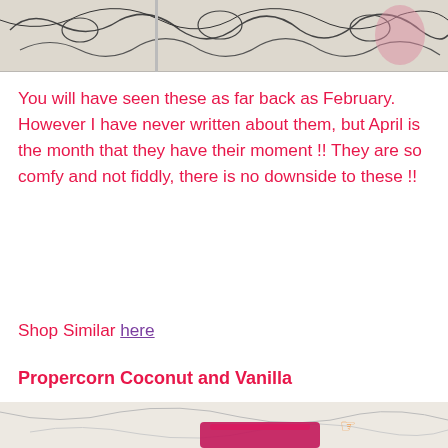[Figure (photo): Partial view of illustrated animal/botanical pattern fabric or wallpaper in black and white with pink accents, cropped at top of page.]
You will have seen these as far back as February. However I have never written about them, but April is the month that they have their moment !! They are so comfy and not fiddly, there is no downside to these !!
Shop Similar here
Propercorn Coconut and Vanilla
[Figure (photo): Photo of a magenta/pink Propercorn popcorn bag against a floral illustrated background with birds and flowers. A pointing hand cursor emoji is visible in the image.]